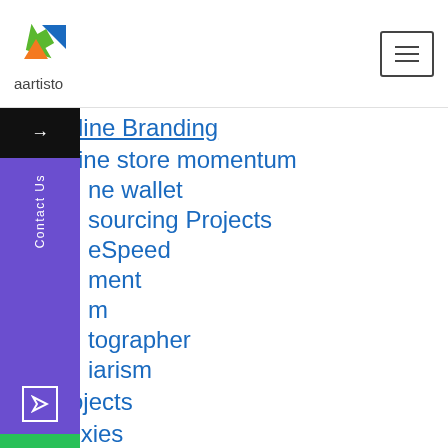aartisto
Online Branding
online store momentum
online wallet
Outsourcing Projects
PageSpeed
payment
prism
photographer
plagiarism
Projects
proxies
remarketing
retailer